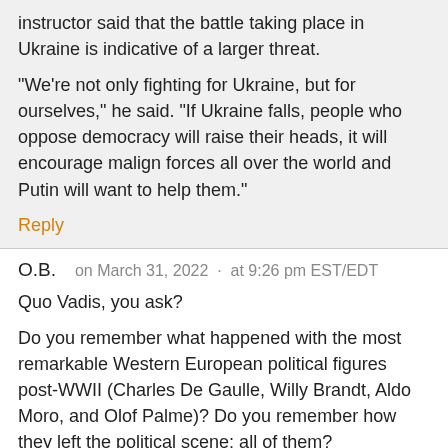instructor said that the battle taking place in Ukraine is indicative of a larger threat.

"We're not only fighting for Ukraine, but for ourselves," he said. "If Ukraine falls, people who oppose democracy will raise their heads, it will encourage malign forces all over the world and Putin will want to help them."
Reply
O.B.   on March 31, 2022 · at 9:26 pm EST/EDT
Quo Vadis, you ask?

Do you remember what happened with the most remarkable Western European political figures post-WWII (Charles De Gaulle, Willy Brandt, Aldo Moro, and Olof Palme)? Do you remember how they left the political scene; all of them?
Reply
Tired westener   on April 01, 2022 · at 1:45 am EST/EDT
Could you explain this please? You mean their political end or that they were assassinated?